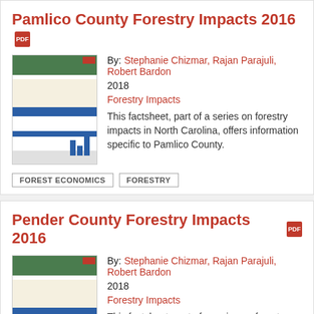Pamlico County Forestry Impacts 2016
By: Stephanie Chizmar, Rajan Parajuli, Robert Bardon
2018
Forestry Impacts
This factsheet, part of a series on forestry impacts in North Carolina, offers information specific to Pamlico County.
FOREST ECONOMICS
FORESTRY
Pender County Forestry Impacts 2016
By: Stephanie Chizmar, Rajan Parajuli, Robert Bardon
2018
Forestry Impacts
This factsheet, part of a series on forestry impacts in North Carolina, offers information specific to Pender County.